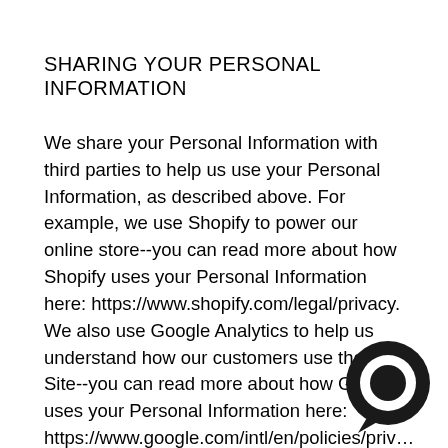SHARING YOUR PERSONAL INFORMATION
We share your Personal Information with third parties to help us use your Personal Information, as described above. For example, we use Shopify to power our online store--you can read more about how Shopify uses your Personal Information here: https://www.shopify.com/legal/privacy. We also use Google Analytics to help us understand how our customers use the Site--you can read more about how Google uses your Personal Information here: https://www.google.com/intl/en/policies/priv.... You can also opt-out of Google Analytics here: https://tools.google.com/dlpage/gaoptout.